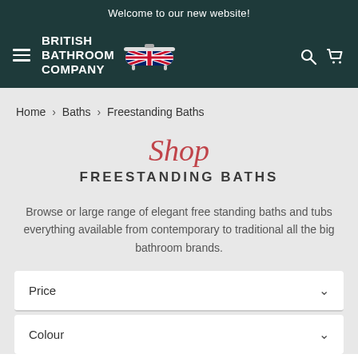Welcome to our new website!
[Figure (logo): British Bathroom Company logo with Union Jack bathtub illustration, hamburger menu, search and cart icons on dark teal background]
Home > Baths > Freestanding Baths
Shop FREESTANDING BATHS
Browse or large range of elegant free standing baths and tubs everything available from contemporary to traditional all the big bathroom brands.
Price
Colour